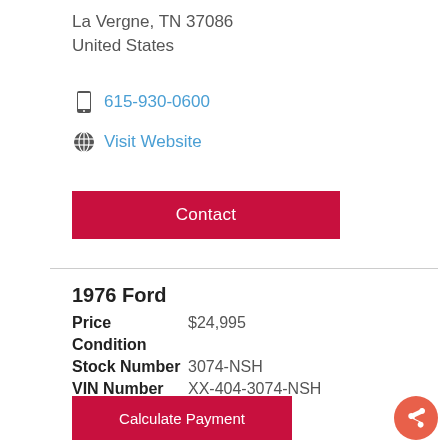La Vergne, TN 37086
United States
615-930-0600
Visit Website
Contact
1976 Ford
Price  $24,995
Condition
Stock Number  3074-NSH
VIN Number  XX-404-3074-NSH
Category  Trucks
Calculate Payment